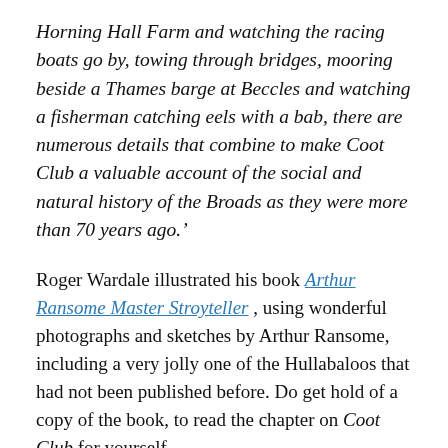Horning Hall Farm and watching the racing boats go by, towing through bridges, mooring beside a Thames barge at Beccles and watching a fisherman catching eels with a bab, there are numerous details that combine to make Coot Club a valuable account of the social and natural history of the Broads as they were more than 70 years ago.'
Roger Wardale illustrated his book Arthur Ransome Master Stroyteller , using wonderful photographs and sketches by Arthur Ransome, including a very jolly one of the Hullabaloos that had not been published before. Do get hold of a copy of the book, to read the chapter on Coot Club for yourself.